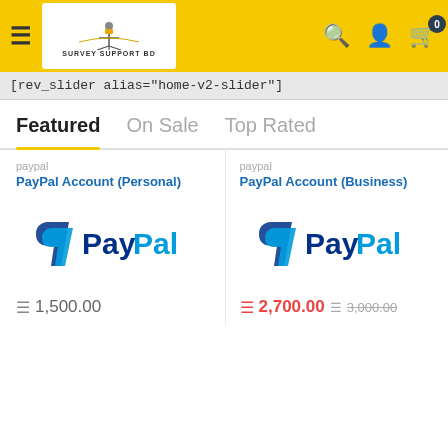[Figure (screenshot): Website header with yellow background, hamburger menu, Survey Support BD logo, search icon, user icon, and cart icon with badge 0]
[rev_slider alias="home-v2-slider"]
Featured   On Sale   Top Rated
paypal
PayPal Account (Personal)
[Figure (logo): PayPal logo - blue P icon with PayPal wordmark in blue and light blue]
1,500.00
paypal
PayPal Account (Business)
[Figure (logo): PayPal logo - blue P icon with PayPal wordmark in blue and light blue]
2,700.00  3,000.00